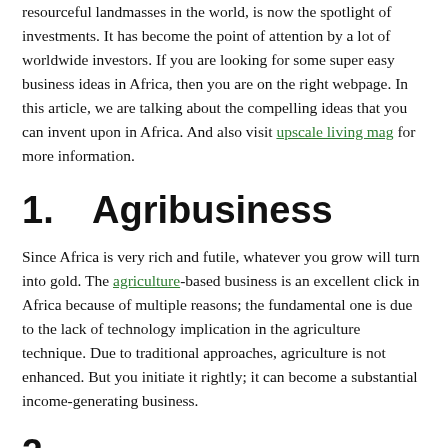resourceful landmasses in the world, is now the spotlight of investments. It has become the point of attention by a lot of worldwide investors. If you are looking for some super easy business ideas in Africa, then you are on the right webpage. In this article, we are talking about the compelling ideas that you can invent upon in Africa. And also visit upscale living mag for more information.
1.   Agribusiness
Since Africa is very rich and futile, whatever you grow will turn into gold. The agriculture-based business is an excellent click in Africa because of multiple reasons; the fundamental one is due to the lack of technology implication in the agriculture technique. Due to traditional approaches, agriculture is not enhanced. But you initiate it rightly; it can become a substantial income-generating business.
2. [partial — cut off at bottom]